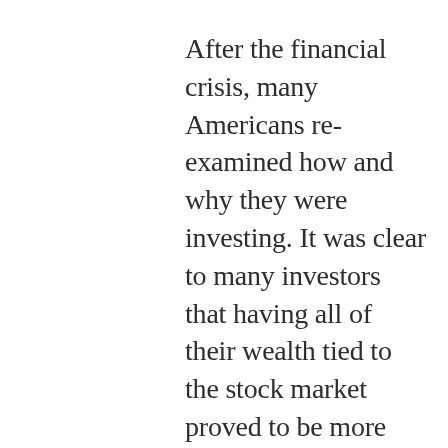After the financial crisis, many Americans re-examined how and why they were investing. It was clear to many investors that having all of their wealth tied to the stock market proved to be more destructive than having alternative investments not correlated to stock market performance. This period was unfortunate if an investor needed to liquidate their investments during a low-valuation period and were only invested in intangible investments in the public markets. However, there were investors, the High Net worth (HNW) investors, which fared better than